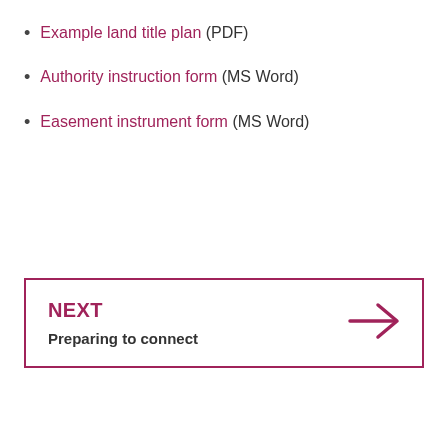Example land title plan (PDF)
Authority instruction form (MS Word)
Easement instrument form (MS Word)
NEXT
Preparing to connect